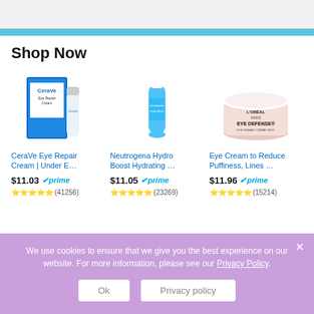Shop Now
[Figure (photo): CeraVe Eye Repair Cream product image showing box and tube]
CeraVe Eye Repair Cream | Under E…
$11.03 prime
★★★★☆ (41256)
[Figure (photo): Neutrogena Hydro Boost Hydrating eye product in teal/blue tube]
Neutrogena Hydro Boost Hydrating ...
$11.05 prime
★★★★☆ (23269)
[Figure (photo): L'Oreal Eye Defense Eye Cream jar in pink/white packaging]
Eye Cream to Reduce Puffiness, Lines ...
$11.96 prime
★★★★☆ (15214)
We use cookies to ensure that we give you the best experience on our website. For more information, please see our Privacy Policy.
Ok
Privacy policy